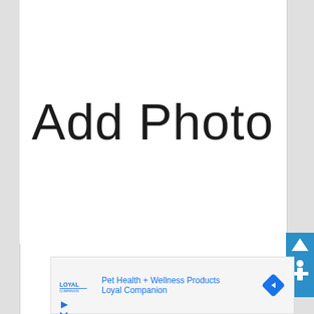[Figure (other): White document area with 'Add Photo' placeholder text in large light-weight font]
[Figure (other): Blue scroll/navigation button on right edge with up arrow and person icon]
[Figure (other): Advertisement banner for Loyal Companion showing 'Pet Health + Wellness Products' with logo and navigation arrow icon]